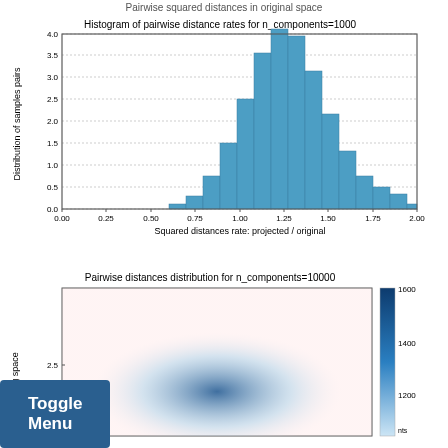Pairwise squared distances in original space
[Figure (histogram): Histogram of pairwise distance rates for n_components=1000]
[Figure (continuous-plot): 2D density/heatmap plot showing pairwise distances distribution, colorbar range approx 1200-1600, y-axis label 'g space', y-axis shows value 2.5]